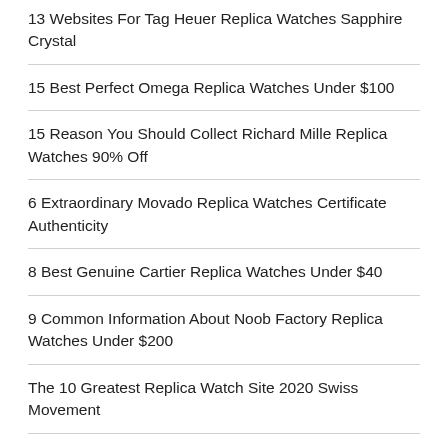13 Websites For Tag Heuer Replica Watches Sapphire Crystal
15 Best Perfect Omega Replica Watches Under $100
15 Reason You Should Collect Richard Mille Replica Watches 90% Off
6 Extraordinary Movado Replica Watches Certificate Authenticity
8 Best Genuine Cartier Replica Watches Under $40
9 Common Information About Noob Factory Replica Watches Under $200
The 10 Greatest Replica Watch Site 2020 Swiss Movement
The 10 Most Extraordinary Hublot Replica Watches On Our Website